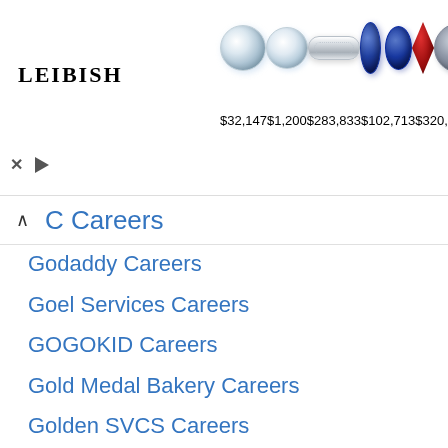[Figure (screenshot): Leibish jewelry advertisement banner showing diamond earrings, band ring, sapphires, ruby, and gray diamond with prices: $32,147, $1,200, $283,833, $102,713, $320,489]
C Careers
Godaddy Careers
Goel Services Careers
GOGOKID Careers
Gold Medal Bakery Careers
Golden SVCS Careers
Goldman Sachs Careers
Good Earth Natural Foods Careers
Good Guy Driving Careers
Good Sam Careers